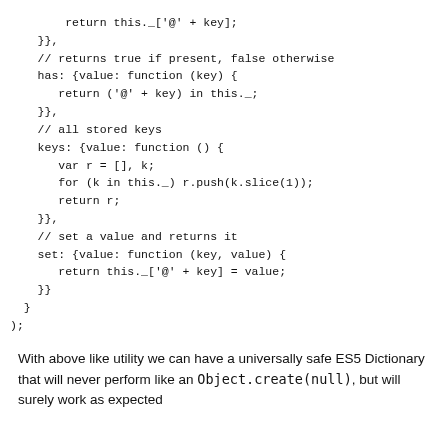return this._['@' + key];
    }},
    // returns true if present, false otherwise
    has: {value: function (key) {
       return ('@' + key) in this._;
    }},
    // all stored keys
    keys: {value: function () {
       var r = [], k;
       for (k in this._) r.push(k.slice(1));
       return r;
    }},
    // set a value and returns it
    set: {value: function (key, value) {
       return this._['@' + key] = value;
    }}
  }
);
With above like utility we can have a universally safe ES5 Dictionary that will never perform like an Object.create(null), but will surely work as expected